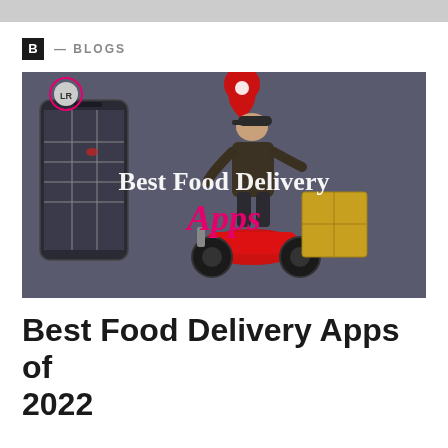B — BLOGS
[Figure (illustration): Illustration of a delivery person on a red scooter carrying packages, with a smartphone showing a map and a red location pin above. Text overlay reads 'Best Food Delivery Apps' in white and pink serif font.]
Best Food Delivery Apps of 2022